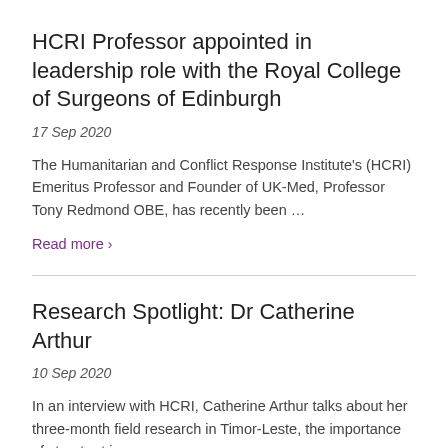HCRI Professor appointed in leadership role with the Royal College of Surgeons of Edinburgh
17 Sep 2020
The Humanitarian and Conflict Response Institute's (HCRI) Emeritus Professor and Founder of UK-Med, Professor Tony Redmond OBE, has recently been …
Read more ›
Research Spotlight: Dr Catherine Arthur
10 Sep 2020
In an interview with HCRI, Catherine Arthur talks about her three-month field research in Timor-Leste, the importance of street art in …